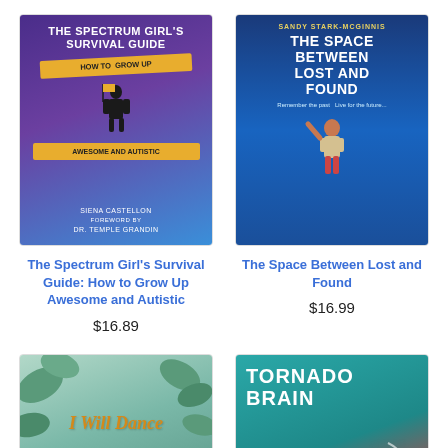[Figure (illustration): Book cover: The Spectrum Girl's Survival Guide: How to Grow Up Awesome and Autistic by Siena Castellon, Foreword by Dr. Temple Grandin. Purple/blue gradient background with silhouette figure and gold banner.]
The Spectrum Girl's Survival Guide: How to Grow Up Awesome and Autistic
$16.89
[Figure (illustration): Book cover: The Space Between Lost and Found by Sandy Stark-McGinnis. Blue swirling background with child figure reaching up.]
The Space Between Lost and Found
$16.99
[Figure (illustration): Book cover: I Will Dance. Teal/green background with leaves and child figures, cursive orange/gold title text.]
[Figure (illustration): Book cover: Tornado Brain. Teal background with red elements, bold white uppercase title text.]